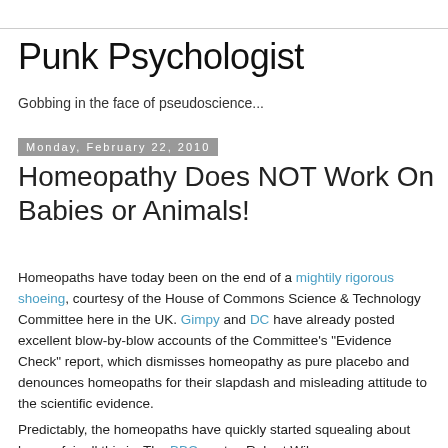Punk Psychologist
Gobbing in the face of pseudoscience...
Monday, February 22, 2010
Homeopathy Does NOT Work On Babies or Animals!
Homeopaths have today been on the end of a mightily rigorous shoeing, courtesy of the House of Commons Science & Technology Committee here in the UK. Gimpy and DC have already posted excellent blow-by-blow accounts of the Committee's "Evidence Check" report, which dismisses homeopathy as pure placebo and denounces homeopaths for their slapdash and misleading attitude to the scientific evidence.
Predictably, the homeopaths have quickly started squealing about how unfair all this is. The BBC quotes Robert Wilson...